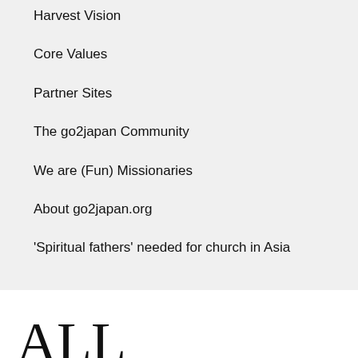Harvest Vision
Core Values
Partner Sites
The go2japan Community
We are (Fun) Missionaries
About go2japan.org
'Spiritual fathers' needed for church in Asia
ALL STORIES